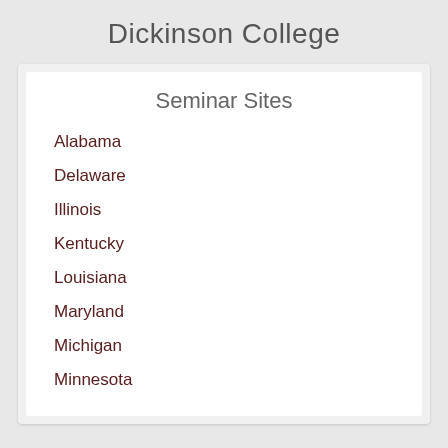Dickinson College
Seminar Sites
Alabama
Delaware
Illinois
Kentucky
Louisiana
Maryland
Michigan
Minnesota